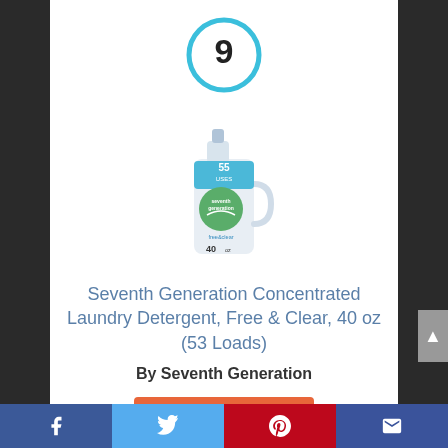[Figure (other): Number 9 inside a cyan/blue circle, serving as a rank indicator]
[Figure (photo): Seventh Generation Concentrated Laundry Detergent Free & Clear 40 oz bottle product photo]
Seventh Generation Concentrated Laundry Detergent, Free & Clear, 40 oz (53 Loads)
By Seventh Generation
View Product
Facebook Twitter Pinterest Email social share bar